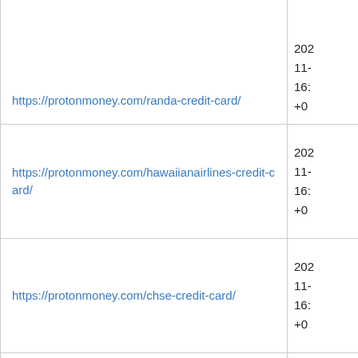| URL | Date |
| --- | --- |
| https://protonmoney.com/randa-credit-card/ | 202...
11-
16:
+0... |
| https://protonmoney.com/hawaiianairlines-credit-card/ | 2022
11-
16:
+00 |
| https://protonmoney.com/chse-credit-card/ | 2022
11-
16:
+00 |
| https://protonmoney.com/www-kohls-com-credit-card/ | 2022
11-
16:
+00 |
| (partial) | 202... |